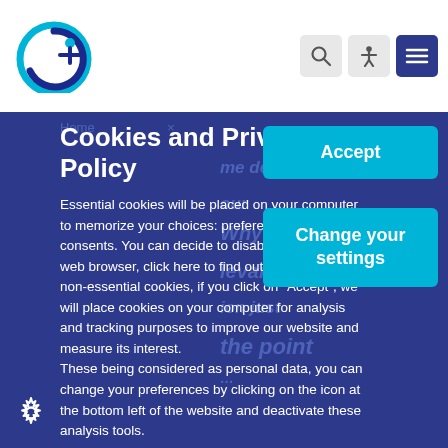[Figure (logo): Circular logo with blue rings and a person silhouette in the center]
[Figure (infographic): Header navigation icons: search (magnifying glass), accessibility (person with arms out), and menu (hamburger) on dark blue background]
Cookies and Privacy Policy
Essential cookies will be placed on your computer to memorize your choices: preferences and consents. You can decide to disable cookies in your web browser, click here to find out how. Regarding non-essential cookies, if you click on "Accept", we will place cookies on your computer for analysis and tracking purposes to improve our website and measure its interest.
These being considered as personal data, you can change your preferences by clicking on the icon at the bottom left of the website and deactivate these analysis tools.
Accept
Change your settings